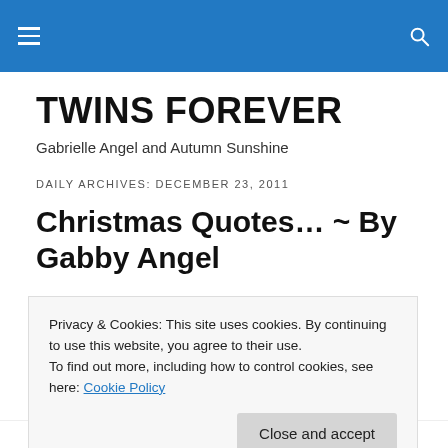TWINS FOREVER — site header navigation bar
TWINS FOREVER
Gabrielle Angel and Autumn Sunshine
DAILY ARCHIVES: DECEMBER 23, 2011
Christmas Quotes… ~ By Gabby Angel
Privacy & Cookies: This site uses cookies. By continuing to use this website, you agree to their use.
To find out more, including how to control cookies, see here: Cookie Policy
liked, something to think about! hope you enjoy them!